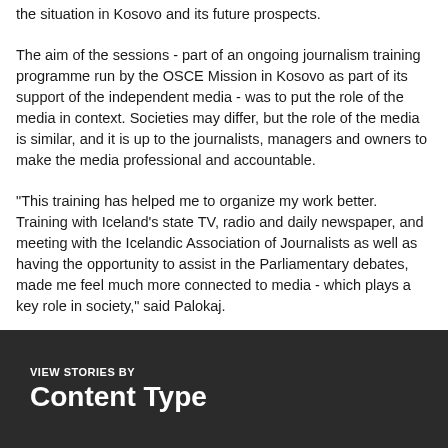the situation in Kosovo and its future prospects.
The aim of the sessions - part of an ongoing journalism training programme run by the OSCE Mission in Kosovo as part of its support of the independent media - was to put the role of the media in context. Societies may differ, but the role of the media is similar, and it is up to the journalists, managers and owners to make the media professional and accountable.
"This training has helped me to organize my work better. Training with Iceland's state TV, radio and daily newspaper, and meeting with the Icelandic Association of Journalists as well as having the opportunity to assist in the Parliamentary debates, made me feel much more connected to media - which plays a key role in society," said Palokaj.
VIEW STORIES BY
Content Type